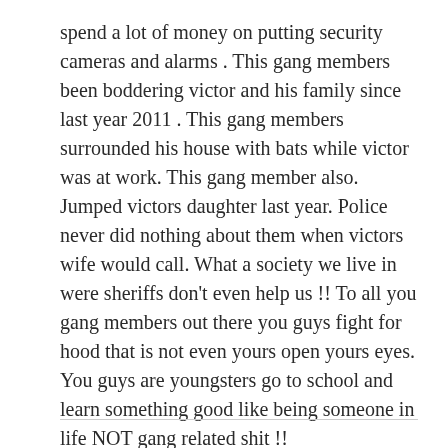spend a lot of money on putting security cameras and alarms . This gang members been boddering victor and his family since last year 2011 . This gang members surrounded his house with bats while victor was at work. This gang member also. Jumped victors daughter last year. Police never did nothing about them when victors wife would call. What a society we live in were sheriffs don't even help us !! To all you gang members out there you guys fight for hood that is not even yours open yours eyes. You guys are youngsters go to school and learn something good like being someone in life NOT gang related shit !!